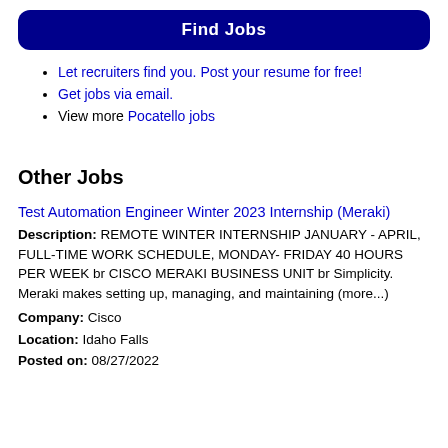Find Jobs
Let recruiters find you. Post your resume for free!
Get jobs via email.
View more Pocatello jobs
Other Jobs
Test Automation Engineer Winter 2023 Internship (Meraki)
Description: REMOTE WINTER INTERNSHIP JANUARY - APRIL, FULL-TIME WORK SCHEDULE, MONDAY- FRIDAY 40 HOURS PER WEEK br CISCO MERAKI BUSINESS UNIT br Simplicity. Meraki makes setting up, managing, and maintaining (more...)
Company: Cisco
Location: Idaho Falls
Posted on: 08/27/2022